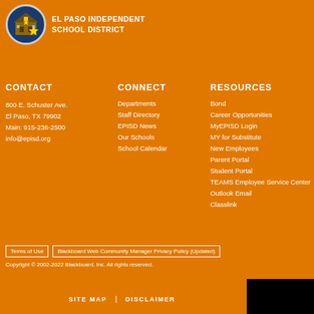EL PASO INDEPENDENT SCHOOL DISTRICT
CONTACT
800 E. Schuster Ave.
El Paso, TX 79902
Main: 915-236-2500
info@episd.org
CONNECT
Departments
Staff Directory
EPISD News
Our Schools
School Calendar
RESOURCES
Bond
Career Opportunities
MyEPISD Login
MY for Substitute
New Employees
Parent Portal
Student Portal
TEAMS Employee Service Center
Outlook Email
Classlink
Terms of Use | Blackboard Web Community Manager Privacy Policy (Updated)
Copyright © 2002-2022 Blackboard, Inc. All rights reserved.
SITE MAP | DISCLAIMER